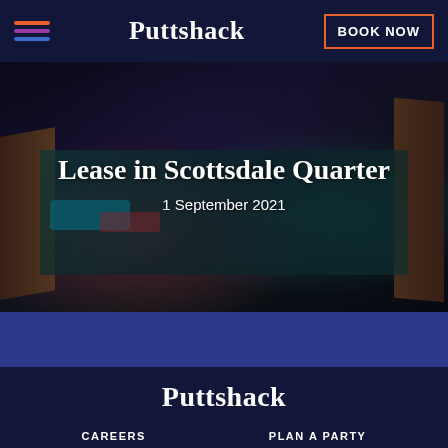Puttshack | BOOK NOW
[Figure (photo): Mini-golf game table scene with colorful LED lighting, wooden frame rails, green felt surface with teal and red accents. Overlay text reads 'Lease in Scottsdale Quarter' dated 1 September 2021.]
Lease in Scottsdale Quarter
1 September 2021
Puttshack
CAREERS    PLAN A PARTY